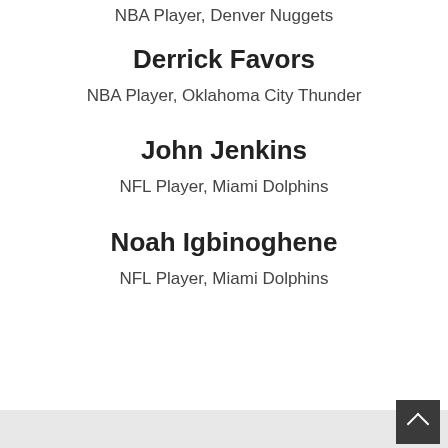NBA Player, Denver Nuggets
Derrick Favors
NBA Player, Oklahoma City Thunder
John Jenkins
NFL Player, Miami Dolphins
Noah Igbinoghene
NFL Player, Miami Dolphins